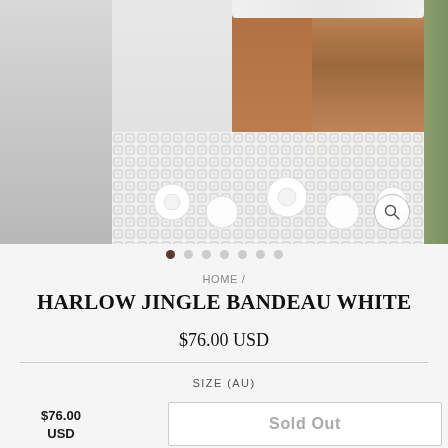[Figure (photo): Product photo of a white lace/crochet bandeau top with floral pattern and scalloped edge strap, worn on a model with tan skin, shown against a white paneled background. Photo strip with left panel showing neutral background and partial right strip showing greenery.]
HOME /
HARLOW JINGLE BANDEAU WHITE
$76.00 USD
SIZE (AU)
$76.00 USD
Sold Out